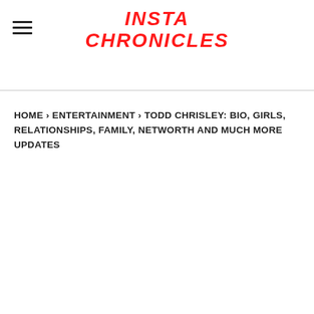INSTA CHRONICLES
HOME › ENTERTAINMENT › TODD CHRISLEY: BIO, GIRLS, RELATIONSHIPS, FAMILY, NETWORTH AND MUCH MORE UPDATES